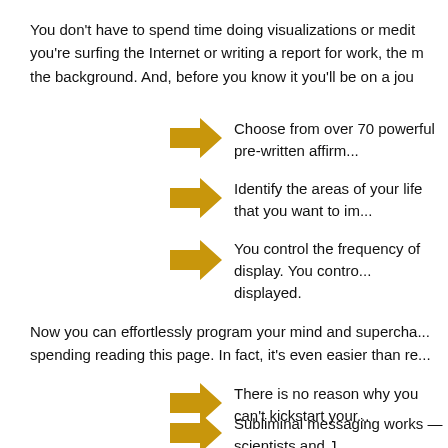You don't have to spend time doing visualizations or medit... you're surfing the Internet or writing a report for work, the m... the background. And, before you know it you'll be on a jou...
Choose from over 70 powerful pre-written affirm...
Identify the areas of your life that you want to im...
You control the frequency of display. You contro... displayed.
Now you can effortlessly program your mind and supercha... spending reading this page. In fact, it's even easier than re...
There is no reason why you can't kickstart your...
Subliminal messaging works — scientists and J...
SubliminalEzy works and we're ready to prove i...